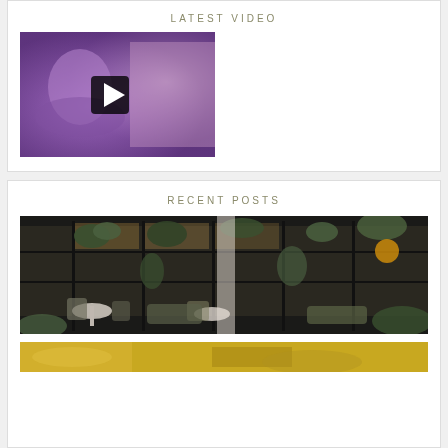LATEST VIDEO
[Figure (screenshot): Video thumbnail showing a woman's face with purple lighting and a play button overlay]
RECENT POSTS
[Figure (photo): Interior of an upscale restaurant/cafe with lush green plants, black steel framing, large windows, and seating area]
[Figure (photo): Partial view of a food photograph with yellow/orange colors]